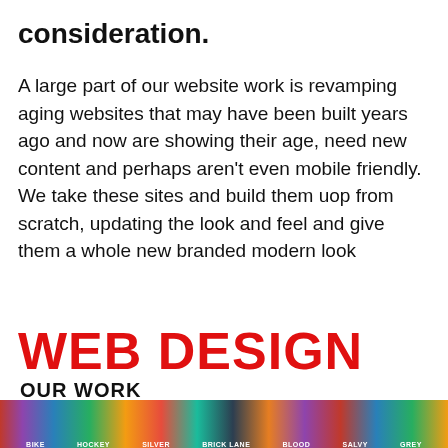consideration.
A large part of our website work is revamping aging websites that may have been built years ago and now are showing their age, need new content and perhaps aren't even mobile friendly. We take these sites and build them uop from scratch, updating the look and feel and give them a whole new branded modern look
WEB DESIGN
OUR WORK
[Figure (screenshot): A horizontal strip showing a website navigation bar or header with colorful sections and small white text labels]